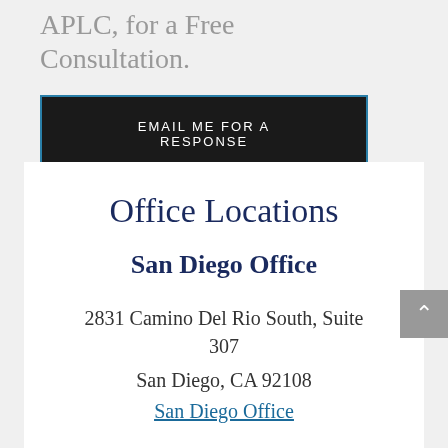APLC, for a Free Consultation.
EMAIL ME FOR A RESPONSE
Office Locations
San Diego Office
2831 Camino Del Rio South, Suite 307
San Diego, CA 92108
San Diego Office